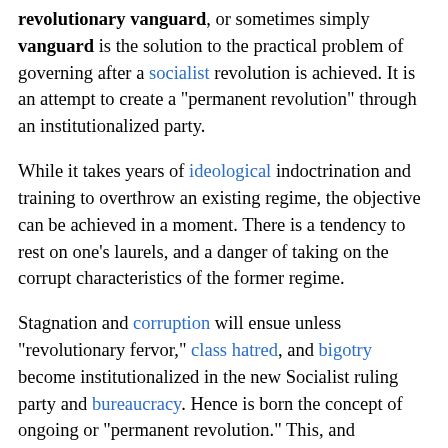revolutionary vanguard, or sometimes simply vanguard is the solution to the practical problem of governing after a socialist revolution is achieved. It is an attempt to create a "permanent revolution" through an institutionalized party.
While it takes years of ideological indoctrination and training to overthrow an existing regime, the objective can be achieved in a moment. There is a tendency to rest on one's laurels, and a danger of taking on the corrupt characteristics of the former regime.
Stagnation and corruption will ensue unless "revolutionary fervor," class hatred, and bigotry become institutionalized in the new Socialist ruling party and bureaucracy. Hence is born the concept of ongoing or "permanent revolution." This, and "institutionalized revolution" are just two examples of the oxymoronic thinking common to Marxist theory.